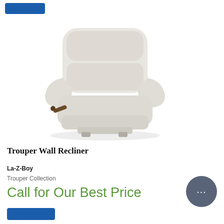[Figure (photo): Light gray La-Z-Boy Trouper Wall Recliner chair with brown lever handle, photographed on white background]
Trouper Wall Recliner
La-Z-Boy
Trouper Collection
Call for Our Best Price